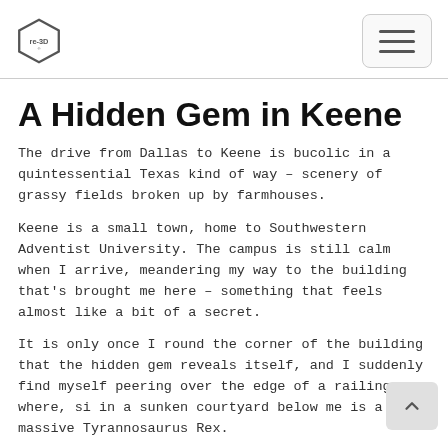re-3D logo and navigation menu button
A Hidden Gem in Keene
The drive from Dallas to Keene is bucolic in a quintessential Texas kind of way – scenery of grassy fields broken up by farmhouses.
Keene is a small town, home to Southwestern Adventist University. The campus is still calm when I arrive, meandering my way to the building that's brought me here – something that feels almost like a bit of a secret.
It is only once I round the corner of the building that the hidden gem reveals itself, and I suddenly find myself peering over the edge of a railing, where, si in a sunken courtyard below me is a massive Tyrannosaurus Rex.